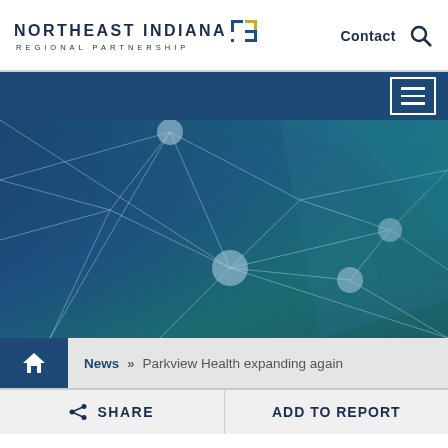Northeast Indiana Regional Partnership — Contact [Search]
[Figure (illustration): Abstract network diagram with connected nodes and lines on a blue-teal gradient background, used as hero banner image]
News » Parkview Health expanding again
SHARE
ADD TO REPORT